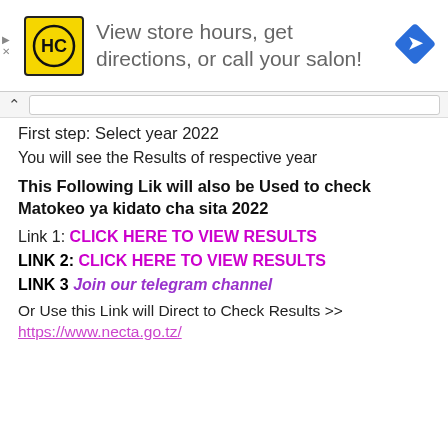[Figure (infographic): Advertisement banner: HC logo on yellow background, text 'View store hours, get directions, or call your salon!', blue diamond arrow icon on right]
First step: Select year 2022
You will see the Results of respective year
This Following Lik will also be Used to check Matokeo ya kidato cha sita 2022
Link 1: CLICK HERE TO VIEW RESULTS
LINK 2: CLICK HERE TO VIEW RESULTS
LINK 3 Join our telegram channel
Or Use this Link will Direct to Check Results >> https://www.necta.go.tz/